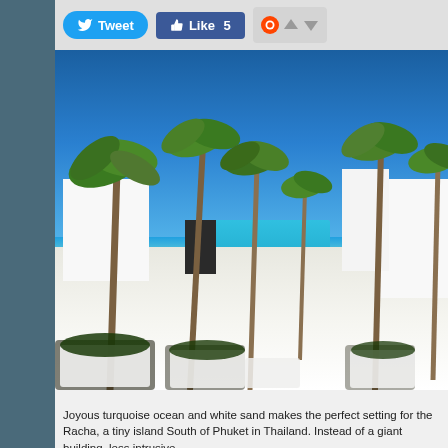[Figure (photo): Social media toolbar with Tweet button (blue), Like 5 button (dark blue Facebook style), and Reddit voting arrows on grey background]
[Figure (photo): Tropical resort photo showing palm trees lining a white pathway flanked by white modern buildings, with turquoise ocean visible in the background under a bright blue sky - The Racha resort, Phuket, Thailand]
Joyous turquoise ocean and white sand makes the perfect setting for the Racha, a tiny island South of Phuket in Thailand. Instead of a giant building, less intrusive